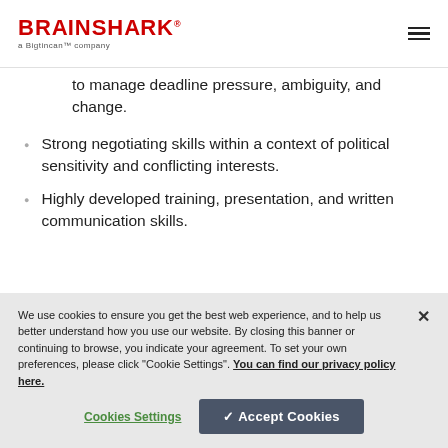BRAINSHARK a Bigtincan™ company
to manage deadline pressure, ambiguity, and change.
Strong negotiating skills within a context of political sensitivity and conflicting interests.
Highly developed training, presentation, and written communication skills.
We use cookies to ensure you get the best web experience, and to help us better understand how you use our website. By closing this banner or continuing to browse, you indicate your agreement. To set your own preferences, please click "Cookie Settings". You can find our privacy policy here.
Cookies Settings | ✔ Accept Cookies